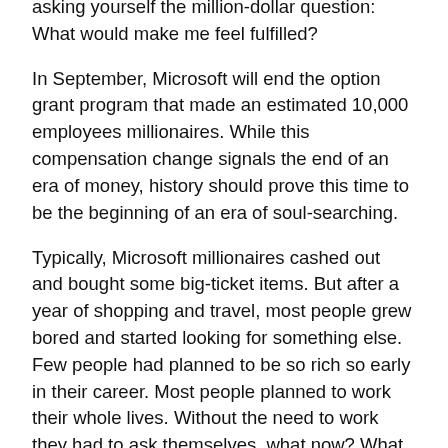asking yourself the million-dollar question: What would make me feel fulfilled?
In September, Microsoft will end the option grant program that made an estimated 10,000 employees millionaires. While this compensation change signals the end of an era of money, history should prove this time to be the beginning of an era of soul-searching.
Typically, Microsoft millionaires cashed out and bought some big-ticket items. But after a year of shopping and travel, most people grew bored and started looking for something else. Few people had planned to be so rich so early in their career. Most people planned to work their whole lives. Without the need to work they had to ask themselves, what now? What is my life about? What makes me tick?
In fact, what these millionaires had to do was figure out their priorities. What we can learn from this era of options is that everyone can have the life of a millionaire if you